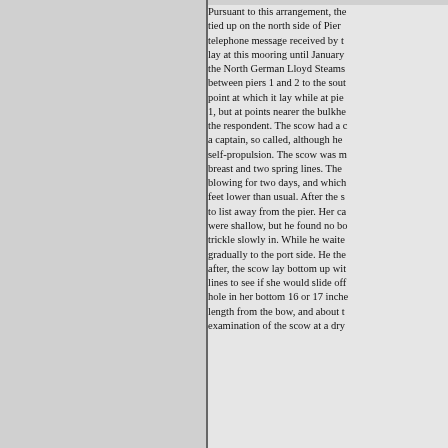Pursuant to this arrangement, the tied up on the north side of Pier telephone message received by t lay at this mooring until January the North German Lloyd Steams between piers 1 and 2 to the sout point at which it lay while at pie 1, but at points nearer the bulkhe the respondent. The scow had a c a captain, so called, although he self-propulsion. The scow was m breast and two spring lines. The blowing for two days, and which feet lower than usual. After the s to list away from the pier. Her ca were shallow, but he found no bo trickle slowly in. While he waite gradually to the port side. He the after, the scow lay bottom up wit lines to see if she would slide off hole in her bottom 16 or 17 inche length from the bow, and about t examination of the scow at a dry